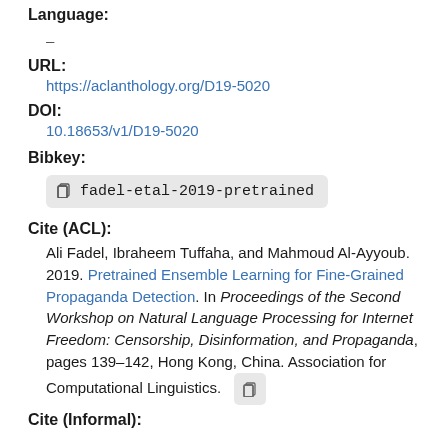Language:
–
URL:
https://aclanthology.org/D19-5020
DOI:
10.18653/v1/D19-5020
Bibkey:
fadel-etal-2019-pretrained
Cite (ACL):
Ali Fadel, Ibraheem Tuffaha, and Mahmoud Al-Ayyoub. 2019. Pretrained Ensemble Learning for Fine-Grained Propaganda Detection. In Proceedings of the Second Workshop on Natural Language Processing for Internet Freedom: Censorship, Disinformation, and Propaganda, pages 139–142, Hong Kong, China. Association for Computational Linguistics.
Cite (Informal):